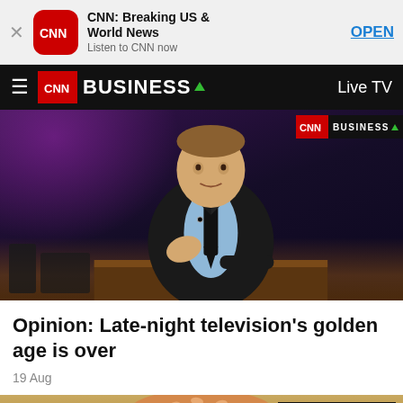[Figure (screenshot): App store banner for CNN: Breaking US & World News app with CNN logo, app name, tagline 'Listen to CNN now', and OPEN button]
[Figure (screenshot): CNN Business navigation bar with hamburger menu, CNN Business logo, and Live TV link]
[Figure (photo): Photo of James Corden at Late Late Show desk in dark studio with purple and blue lighting]
Opinion: Late-night television's golden age is over
19 Aug
[Figure (photo): Photo of a burger/hamburger with CNN Business logo watermark in top right corner]